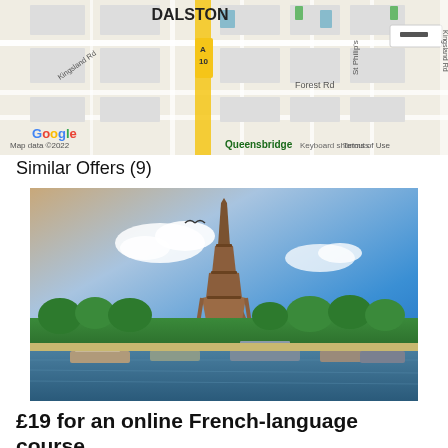[Figure (map): Google Maps screenshot showing Dalston area in London, with A10 road, Queensbridge, Forest Rd, St Philip's, and surrounding streets visible. Map data ©2022. Keyboard shortcuts and Terms of Use links shown.]
Similar Offers (9)
[Figure (photo): Photograph of the Eiffel Tower in Paris with the Seine river in the foreground, boats moored along the riverbank, trees lining the river, blue sky with clouds, and a seagull in flight.]
£19 for an online French-language course